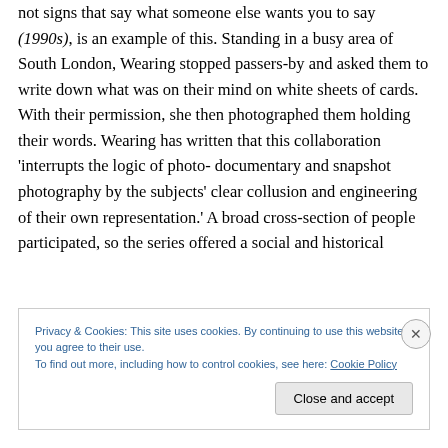not signs that say what someone else wants you to say (1990s), is an example of this. Standing in a busy area of South London, Wearing stopped passers-by and asked them to write down what was on their mind on white sheets of cards. With their permission, she then photographed them holding their words. Wearing has written that this collaboration 'interrupts the logic of photo-documentary and snapshot photography by the subjects' clear collusion and engineering of their own representation.' A broad cross-section of people participated, so the series offered a social and historical
Privacy & Cookies: This site uses cookies. By continuing to use this website, you agree to their use.
To find out more, including how to control cookies, see here: Cookie Policy